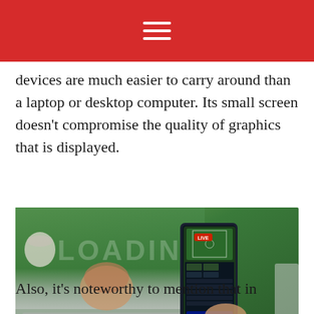☰
devices are much easier to carry around than a laptop or desktop computer. Its small screen doesn't compromise the quality of graphics that is displayed.
[Figure (photo): Person holding a smartphone displaying a live sports betting app, with a laptop in the background showing a green sports field screen. Person's other hand is in a fist on a wooden desk.]
Also, it's noteworthy to mention that in